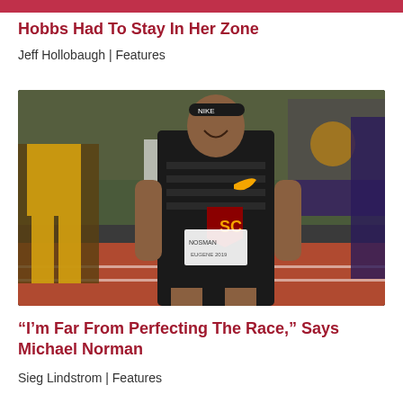[Figure (other): Decorative red/maroon horizontal banner bar at the top of the page]
Hobbs Had To Stay In Her Zone
Jeff Hollobaugh | Features
[Figure (photo): Photo of a USC track athlete (Michael Norman) in a black striped USC singlet with SC logo and Nike swoosh, wearing a black headband, smiling/celebrating while running on a red track. Another athlete in yellow/purple uniform visible in background left.]
“I’m Far From Perfecting The Race,” Says Michael Norman
Sieg Lindstrom | Features